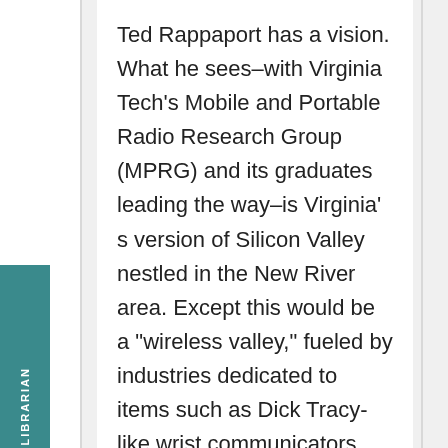Ted Rappaport has a vision. What he sees–with Virginia Tech's Mobile and Portable Radio Research Group (MPRG) and its graduates leading the way–is Virginia' s version of Silicon Valley nestled in the New River area. Except this would be a "wireless valley," fueled by industries dedicated to items such as Dick Tracy-like wrist communicators,